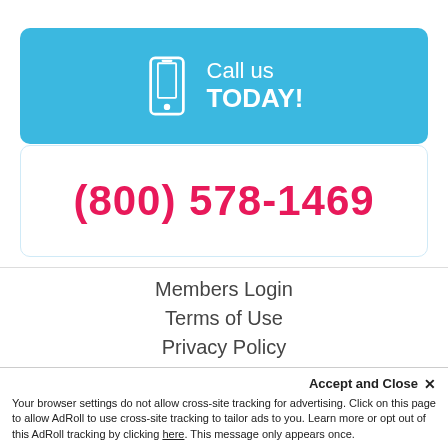[Figure (infographic): Blue rounded banner with phone icon and text 'Call us TODAY!']
(800) 578-1469
Members Login
Terms of Use
Privacy Policy
Partner Program
Visit our YouTube page
Accept and Close ✕
Your browser settings do not allow cross-site tracking for advertising. Click on this page to allow AdRoll to use cross-site tracking to tailor ads to you. Learn more or opt out of this AdRoll tracking by clicking here. This message only appears once.